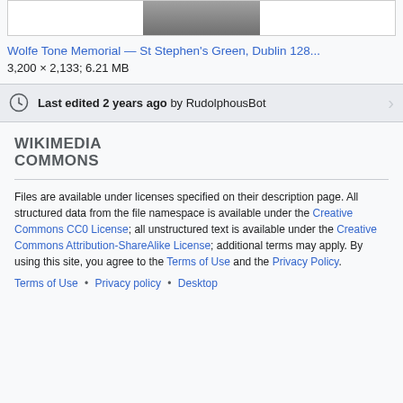[Figure (photo): Partial view of Wolfe Tone Memorial image thumbnail at top of page]
Wolfe Tone Memorial — St Stephen's Green, Dublin 128...
3,200 × 2,133; 6.21 MB
Last edited 2 years ago by RudolphousBot
WIKIMEDIA COMMONS
Files are available under licenses specified on their description page. All structured data from the file namespace is available under the Creative Commons CC0 License; all unstructured text is available under the Creative Commons Attribution-ShareAlike License; additional terms may apply. By using this site, you agree to the Terms of Use and the Privacy Policy.
Terms of Use • Privacy policy • Desktop